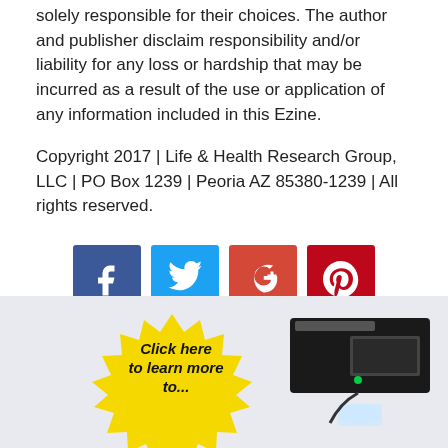solely responsible for their choices. The author and publisher disclaim responsibility and/or liability for any loss or hardship that may be incurred as a result of the use or application of any information included in this Ezine.
Copyright 2017 | Life & Health Research Group, LLC | PO Box 1239 | Peoria AZ 85380-1239 | All rights reserved.
[Figure (infographic): Social media share buttons: Facebook (blue), Twitter (light blue), Google+ (red-orange), Pinterest (dark red)]
[Figure (infographic): Yellow starburst badge with italic bold text 'Click here to learn more' and a product device image (black electronic box) on the right, on a light blue-grey background.]